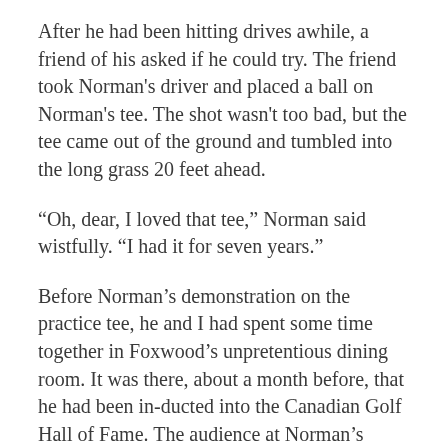After he had been hitting drives awhile, a friend of his asked if he could try. The friend took Norman's driver and placed a ball on Norman's tee. The shot wasn't too bad, but the tee came out of the ground and tumbled into the long grass 20 feet ahead.
“Oh, dear, I loved that tee,” Norman said wistfully. “I had it for seven years.”
Before Norman’s demonstration on the practice tee, he and I had spent some time together in Foxwood’s unpretentious dining room. It was there, about a month before, that he had been inducted into the Canadian Golf Hall of Fame. The audience at Norman’s induction was limited mostly to friends. At his re- quest, the dinner was